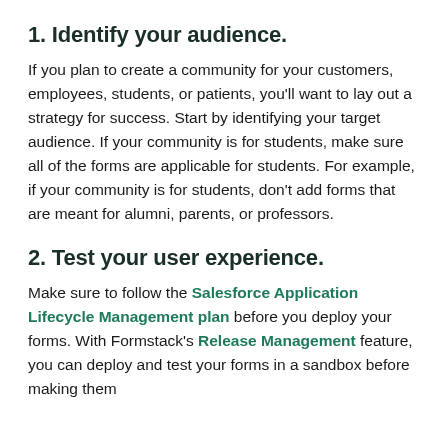1. Identify your audience.
If you plan to create a community for your customers, employees, students, or patients, you'll want to lay out a strategy for success. Start by identifying your target audience. If your community is for students, make sure all of the forms are applicable for students. For example, if your community is for students, don't add forms that are meant for alumni, parents, or professors.
2. Test your user experience.
Make sure to follow the Salesforce Application Lifecycle Management plan before you deploy your forms. With Formstack's Release Management feature, you can deploy and test your forms in a sandbox before making them